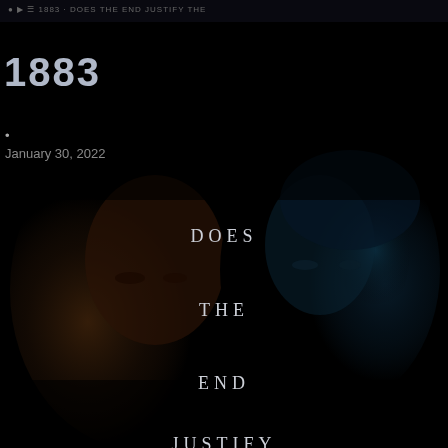1883
•
January 30, 2022
[Figure (photo): Dark cinematic image showing two faces partially lit — one with warm orange-brown lighting on the left, one with cool blue-green lighting on the right — set against a near-black background. Text overlaid in center reads: DOES / THE / END / JUSTIFY]
DOES
THE
END
JUSTIFY